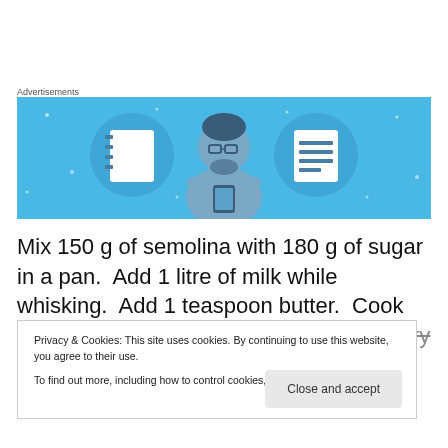Advertisements
[Figure (illustration): Advertisement banner with light blue background showing a cartoon person holding a phone, flanked by two circular icons depicting a notebook and a list/document on either side.]
Mix 150 g of semolina with 180 g of sugar in a pan.  Add 1 litre of milk while whisking.  Add 1 teaspoon butter.  Cook over low heat until getting thick (like a very thick cream
Privacy & Cookies: This site uses cookies. By continuing to use this website, you agree to their use.
To find out more, including how to control cookies, see here: Cookie Policy